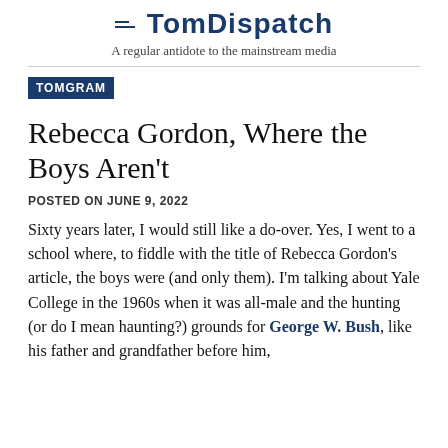TomDispatch — A regular antidote to the mainstream media
TOMGRAM
Rebecca Gordon, Where the Boys Aren't
POSTED ON JUNE 9, 2022
Sixty years later, I would still like a do-over. Yes, I went to a school where, to fiddle with the title of Rebecca Gordon's article, the boys were (and only them). I'm talking about Yale College in the 1960s when it was all-male and the hunting (or do I mean haunting?) grounds for George W. Bush, like his father and grandfather before him,